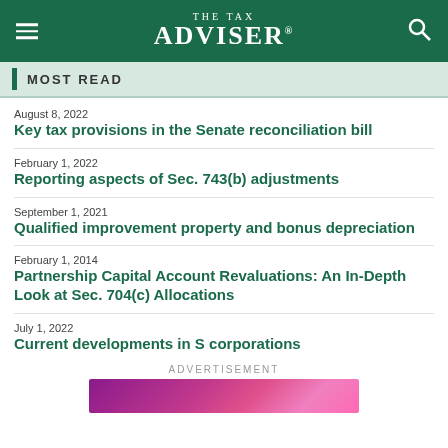THE TAX ADVISER
MOST READ
August 8, 2022
Key tax provisions in the Senate reconciliation bill
February 1, 2022
Reporting aspects of Sec. 743(b) adjustments
September 1, 2021
Qualified improvement property and bonus depreciation
February 1, 2014
Partnership Capital Account Revaluations: An In-Depth Look at Sec. 704(c) Allocations
July 1, 2022
Current developments in S corporations
ADVERTISEMENT